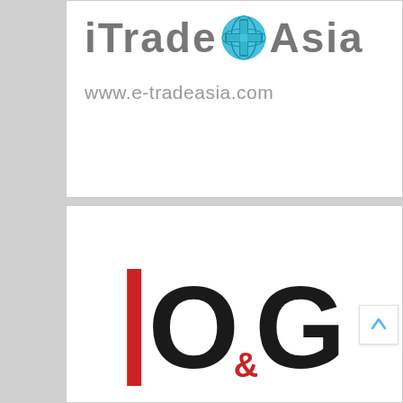[Figure (logo): iTrade+Asia logo with blue globe icon and text 'iTrade+Asia' plus URL 'www.e-tradeasia.com' below]
[Figure (logo): IOG logo: red vertical bar 'I', followed by large black 'O' and 'G' with small red '&' between O and G]